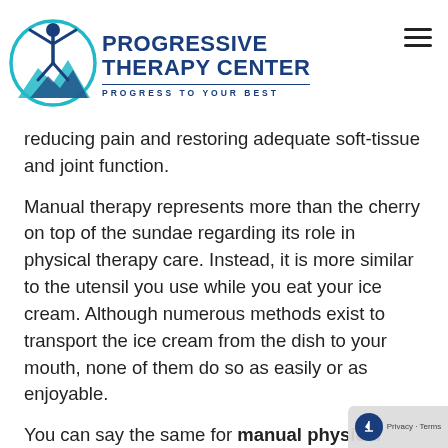[Figure (logo): Progressive Therapy Center logo with a human figure in a circle and teal mountain shapes, with tagline PROGRESS TO YOUR BEST]
reducing pain and restoring adequate soft-tissue and joint function.
Manual therapy represents more than the cherry on top of the sundae regarding its role in physical therapy care. Instead, it is more similar to the utensil you use while you eat your ice cream. Although numerous methods exist to transport the ice cream from the dish to your mouth, none of them do so as easily or as enjoyable.
You can say the same for manual physical therapy in Kendall. While numerous therapi...